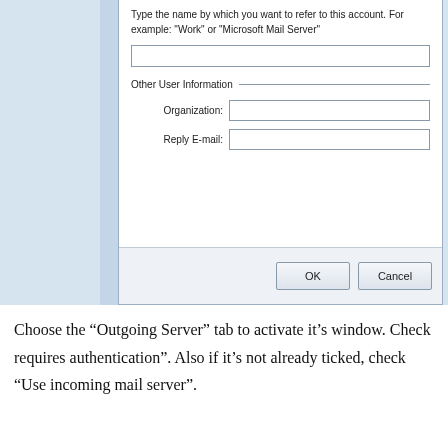[Figure (screenshot): Windows email account settings dialog box showing a form with a text field for account name, an 'Other User Information' section with Organization and Reply E-mail fields, and OK/Cancel buttons at the bottom.]
Choose the “Outgoing Server” tab to activate it's window. Check requires authentication”. Also if it's not already ticked, check “Use incoming mail server”.